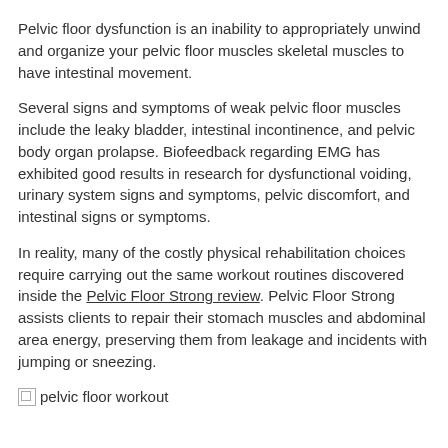Pelvic floor dysfunction is an inability to appropriately unwind and organize your pelvic floor muscles skeletal muscles to have intestinal movement.
Several signs and symptoms of weak pelvic floor muscles include the leaky bladder, intestinal incontinence, and pelvic body organ prolapse. Biofeedback regarding EMG has exhibited good results in research for dysfunctional voiding, urinary system signs and symptoms, pelvic discomfort, and intestinal signs or symptoms.
In reality, many of the costly physical rehabilitation choices require carrying out the same workout routines discovered inside the Pelvic Floor Strong review. Pelvic Floor Strong assists clients to repair their stomach muscles and abdominal area energy, preserving them from leakage and incidents with jumping or sneezing.
[Figure (photo): Broken image placeholder for pelvic floor workout image]